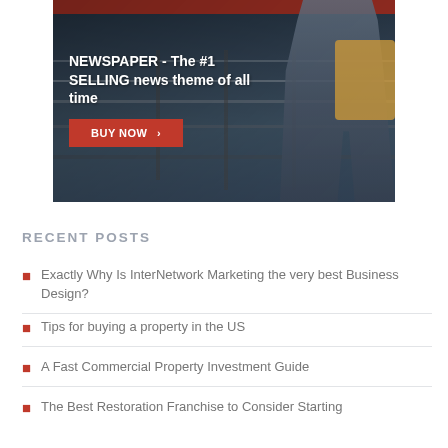[Figure (photo): Advertisement banner showing a person standing at a railway/train platform looking at a phone, with text overlay 'NEWSPAPER - The #1 SELLING news theme of all time' and an orange 'BUY NOW >' button]
RECENT POSTS
Exactly Why Is InterNetwork Marketing the very best Business Design?
Tips for buying a property in the US
A Fast Commercial Property Investment Guide
The Best Restoration Franchise to Consider Starting